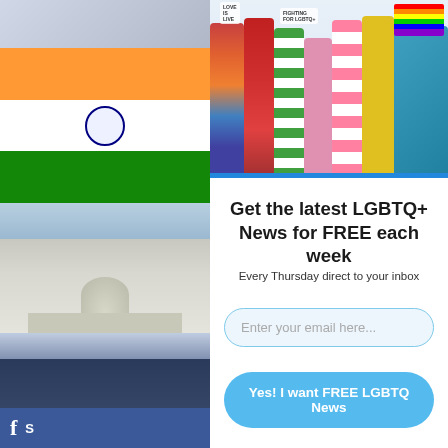[Figure (photo): Left sidebar with thumbnail images: Indian flag, US Capitol building, man in suit at podium with red chyron bar, and government official at podium]
[Figure (photo): Hero banner photo of diverse group of people in colorful clothes celebrating LGBTQ+ rights, holding signs]
Get the latest LGBTQ+ News for FREE each week
Every Thursday direct to your inbox
Enter your email here...
Yes! I want FREE LGBTQ News
S